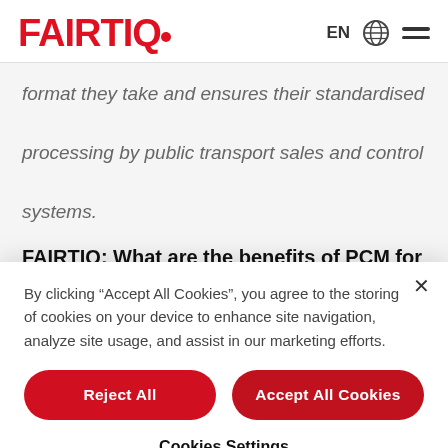FAIRTIQ  EN  [globe icon]  [menu icon]
format they take and ensures their standardised processing by public transport sales and control systems.
FAIRTIQ: What are the benefits of PCM for public
By clicking “Accept All Cookies”, you agree to the storing of cookies on your device to enhance site navigation, analyze site usage, and assist in our marketing efforts.
Reject All
Accept All Cookies
Cookies Settings